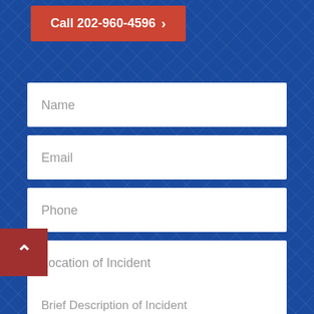Call 202-960-4596 ›
Name
Email
Phone
Location of Incident
Brief Description of Incident